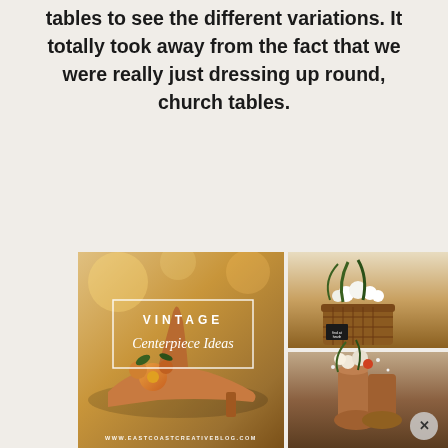tables to see the different variations. It totally took away from the fact that we were really just dressing up round, church tables.
[Figure (photo): Collage of vintage centerpiece ideas showing rose gold high heels with flowers, a wicker basket with white flowers, and copper rain boots with flowers. Text overlay reads 'VINTAGE Centerpiece Ideas' with website www.eastcoastcreativeblog.com. Bottom row shows three additional partial photos of centerpieces.]